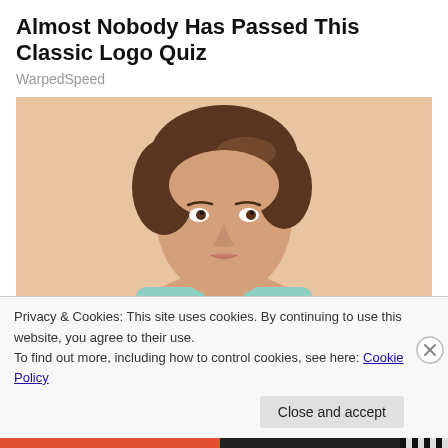Almost Nobody Has Passed This Classic Logo Quiz
WarpedSpeed
[Figure (photo): Portrait photo of a young woman with short brown wavy hair, wearing a light mint/teal sweater, against a peach/beige background, looking directly at camera with a neutral expression.]
Privacy & Cookies: This site uses cookies. By continuing to use this website, you agree to their use.
To find out more, including how to control cookies, see here: Cookie Policy
Close and accept